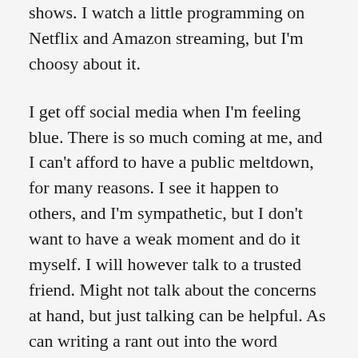shows. I watch a little programming on Netflix and Amazon streaming, but I'm choosy about it.
I get off social media when I'm feeling blue. There is so much coming at me, and I can't afford to have a public meltdown, for many reasons. I see it happen to others, and I'm sympathetic, but I don't want to have a weak moment and do it myself. I will however talk to a trusted friend. Might not talk about the concerns at hand, but just talking can be helpful. As can writing a rant out into the word processor, saving it, and filing it under 'venting.' For some reason my brain wants me not to just close the file without saving, but whatever works for you.
I will also seek out a 'funny' site. I've got a few that will usually have me rolling on the floor before too long. LOLCats, that sort of thing… There, I fixed It! Is highly amusing to me for some reason. Because my